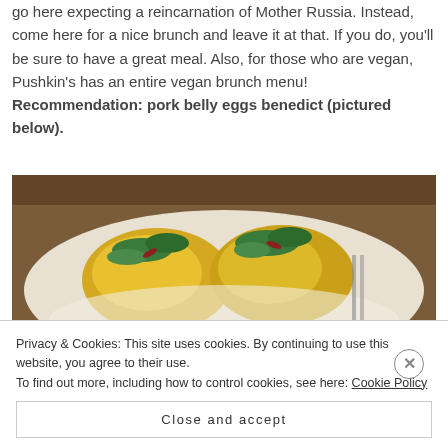go here expecting a reincarnation of Mother Russia. Instead, come here for a nice brunch and leave it at that. If you do, you'll be sure to have a great meal. Also, for those who are vegan, Pushkin's has an entire vegan brunch menu! Recommendation: pork belly eggs benedict (pictured below).
[Figure (photo): Photo of pork belly eggs benedict dish — two eggs covered in hollandaise sauce garnished with fresh herbs and microgreens on a white plate]
Privacy & Cookies: This site uses cookies. By continuing to use this website, you agree to their use.
To find out more, including how to control cookies, see here: Cookie Policy
Close and accept